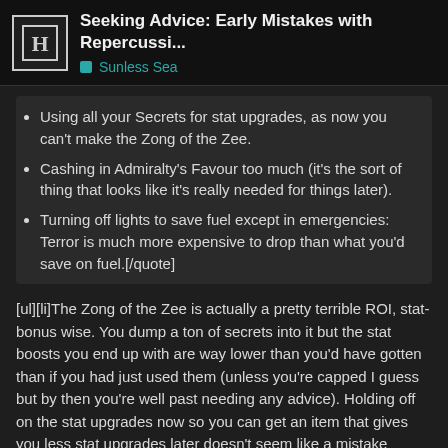Seeking Advice: Early Mistakes with Repercussi... | Sunless Sea
Using all your Secrets for stat upgrades, as now you can't make the Zong of the Zee.
Cashing in Admiralty's Favour too much (it's the sort of thing that looks like it's really needed for things later).
Turning off lights to save fuel except in emergencies: Terror is much more expensive to drop than what you'd save on fuel.[/quote]
[ul][li]The Zong of the Zee is actually a pretty terrible ROI, stat-bonus wise. You dump a ton of secrets into it but the stat boosts you end up with are way lower than you'd have gotten than if you had just used them (unless you're capped I guess but by then you're well past needing any advice). Holding off on the stat upgrades now so you can get an item that gives you less stat upgrades later doesn't seem like a mistake unless you have the ambition.[/li][li]The Admiralty's Favour can be built by fetching him information about the places he asks and it's an incredibly helpful early-game crutch. Hang helpful, especially if by hanging onto it you
4 / 9